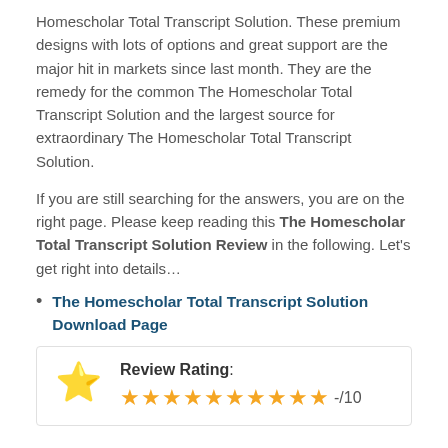Homescholar Total Transcript Solution. These premium designs with lots of options and great support are the major hit in markets since last month. They are the remedy for the common The Homescholar Total Transcript Solution and the largest source for extraordinary The Homescholar Total Transcript Solution.
If you are still searching for the answers, you are on the right page. Please keep reading this The Homescholar Total Transcript Solution Review in the following. Let's get right into details…
The Homescholar Total Transcript Solution Download Page
Review Rating: ★★★★★★★★★★ -/10